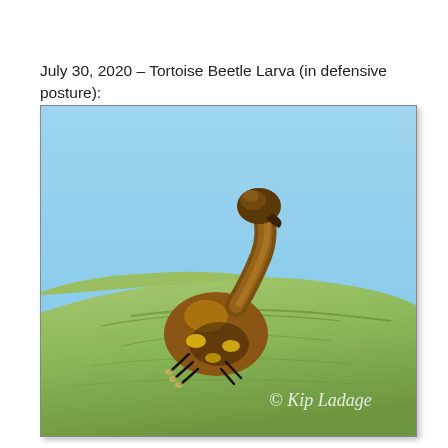July 30, 2020 – Tortoise Beetle Larva (in defensive posture):
[Figure (photo): Close-up photograph of a Tortoise Beetle Larva in a defensive posture, sitting on a green leaf against a blue sky background. The larva is brown and yellow, with its head raised up in a swan-like defensive posture. Watermark reads '© Kip Ladage'.]